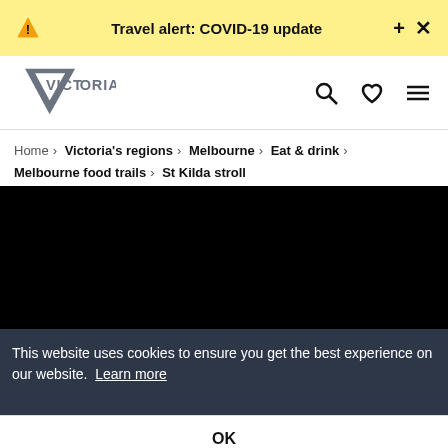Travel alert: COVID-19 update
[Figure (logo): Visit Victoria logo with grey downward-pointing triangle and text VICTORIA]
Home › Victoria's regions › Melbourne › Eat & drink › Melbourne food trails › St Kilda stroll
[Figure (photo): Black hero image area, content not visible]
This website uses cookies to ensure you get the best experience on our website. Learn more
OK